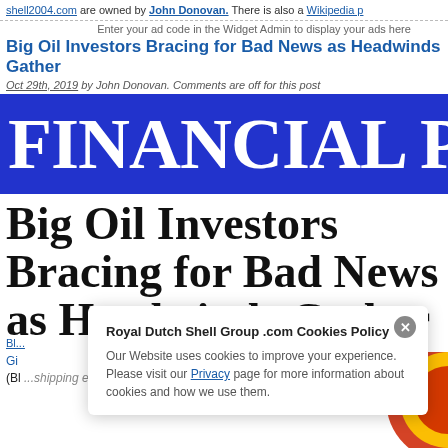shell2004.com are owned by John Donovan. There is also a Wikipedia p...
Enter your ad code in the Widget Admin to display your ads here
Big Oil Investors Bracing for Bad News as Headwinds Gather
Oct 29th, 2019 by John Donovan. Comments are off for this post
[Figure (screenshot): Financial Post logo banner — blue background with white serif text reading 'FINANCIAL POS' (cropped)]
Big Oil Investors Bracing for Bad News as Headwinds Gather
Blog link row
Gi... (Bl... global...
Royal Dutch Shell Group .com Cookies Policy
Our Website uses cookies to improve your experience. Please visit our Privacy page for more information about cookies and how we use them.